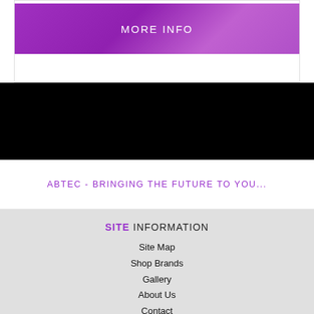[Figure (other): Purple gradient MORE INFO button on white card background]
ABTEC - BRINGING THE FUTURE TO YOU...
SITE INFORMATION
Site Map
Shop Brands
Gallery
About Us
Contact
Downloads
Links